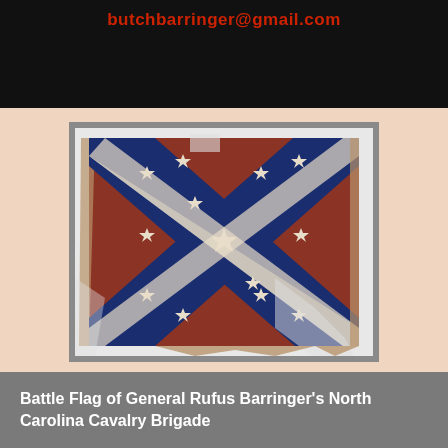butchbarringer@gmail.com
[Figure (photo): A weathered and damaged Confederate battle flag (Army of Northern Virginia pattern) displayed mounted on a white wall. The flag is red with a blue X-shaped cross (saltire) bordered in white, containing 13 white stars along the cross. The fabric shows significant wear, fraying, and damage.]
Battle Flag of General Rufus Barringer's North Carolina Cavalry Brigade